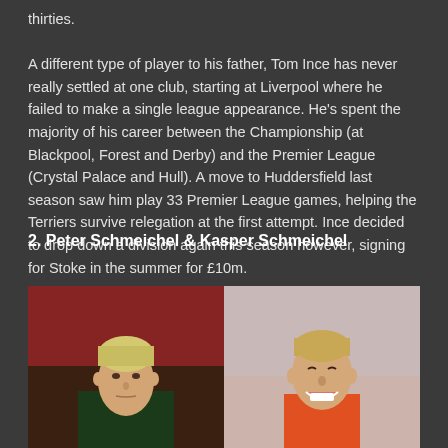thirties. A different type of player to his father, Tom Ince has never really settled at one club, starting at Liverpool where he failed to make a single league appearance. He's spent the majority of his career between the Championship (at Blackpool, Forest and Derby) and the Premier League (Crystal Palace and Hull). A move to Huddersfield last season saw him play 33 Premier League games, helping the Terriers survive relegation at the first attempt. Ince decided to drop down a division again this season however, signing for Stoke in the summer for £10m.
2. Peter Schmeichel & Kasper Schmeichel
[Figure (photo): Two side-by-side photos of Peter Schmeichel (left) and Kasper Schmeichel (right), both goalkeepers]